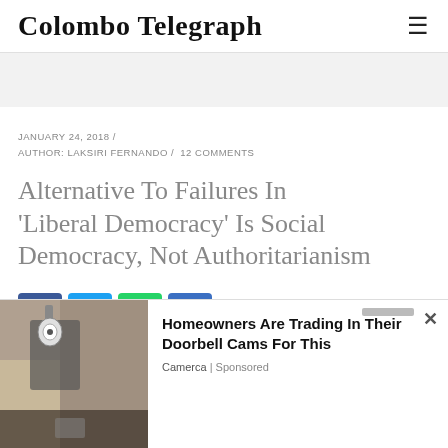Colombo Telegraph
JANUARY 24, 2018 / AUTHOR: LAKSIRI FERNANDO / 12 COMMENTS
Alternative To Failures In ‘Liberal Democracy’ Is Social Democracy, Not Authoritarianism
[Figure (other): Social share buttons: Facebook, Twitter, WhatsApp, Share]
Research
[Figure (photo): Advertisement overlay: image of outdoor security camera on wall, with headline 'Homeowners Are Trading In Their Doorbell Cams For This', source 'Camerca | Sponsored']